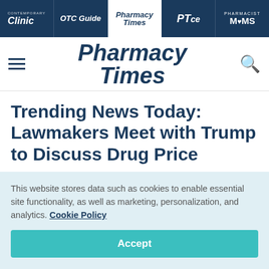Contemporary Clinic | OTC Guide | Pharmacy Times | PTce | Pharmacist Moms
[Figure (logo): Pharmacy Times logo with hamburger menu and search icon]
Trending News Today: Lawmakers Meet with Trump to Discuss Drug Price
This website stores data such as cookies to enable essential site functionality, as well as marketing, personalization, and analytics. Cookie Policy
Accept
Deny